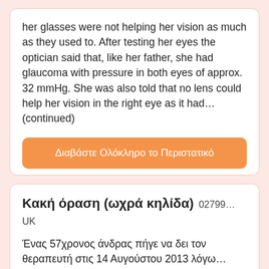her glasses were not helping her vision as much as they used to. After testing her eyes the optician said that, like her father, she had glaucoma with pressure in both eyes of approx. 32 mmHg. She was also told that no lens could help her vision in the right eye as it had…(continued)
Διαβάστε Ολόκληρο το Περιστατικό
Κακή όραση (ωχρά κηλίδα) 02799…UK
Ένας 57χρονος άνδρας πήγε να δει τον θεραπευτή στις 14 Αυγούστου 2013 λόγω…